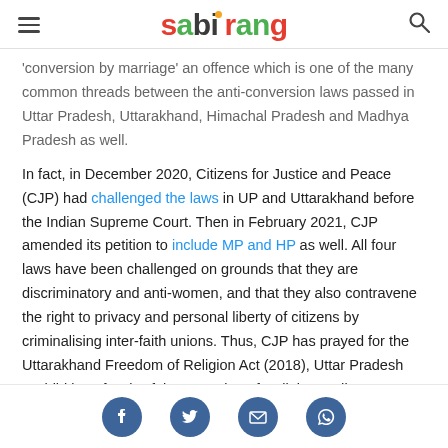sabrang
'conversion by marriage' an offence which is one of the many common threads between the anti-conversion laws passed in Uttar Pradesh, Uttarakhand, Himachal Pradesh and Madhya Pradesh as well.
In fact, in December 2020, Citizens for Justice and Peace (CJP) had challenged the laws in UP and Uttarakhand before the Indian Supreme Court. Then in February 2021, CJP amended its petition to include MP and HP as well. All four laws have been challenged on grounds that they are discriminatory and anti-women, and that they also contravene the right to privacy and personal liberty of citizens by criminalising inter-faith unions. Thus, CJP has prayed for the Uttarakhand Freedom of Religion Act (2018), Uttar Pradesh Prohibition of Unlawful Conversion of Religion Ordinance (2020), Madhya Pradesh to Freedom of Religion Ordinance (2020), and Himachal Pradesh Freedom...
Social share icons: Facebook, Twitter, Email, WhatsApp